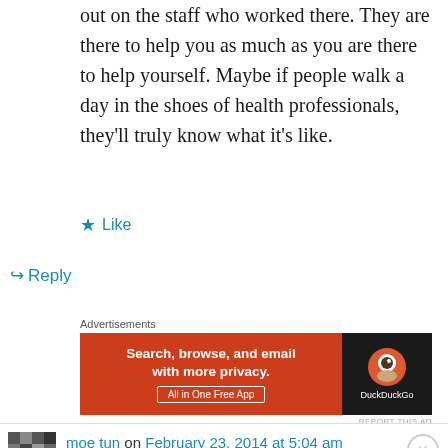out on the staff who worked there. They are there to help you as much as you are there to help yourself. Maybe if people walk a day in the shoes of health professionals, they'll truly know what it's like.
★ Like
↪ Reply
Advertisements
[Figure (screenshot): DuckDuckGo advertisement banner: orange left panel with text 'Search, browse, and email with more privacy. All in One Free App' and dark right panel with DuckDuckGo logo]
REPORT THIS AD
moe tun on February 23, 2014 at 5:04 am
Advertisements
[Figure (screenshot): Day One journaling app advertisement: blue banner with Day One logo icons and text 'The only journaling app you'll ever need.']